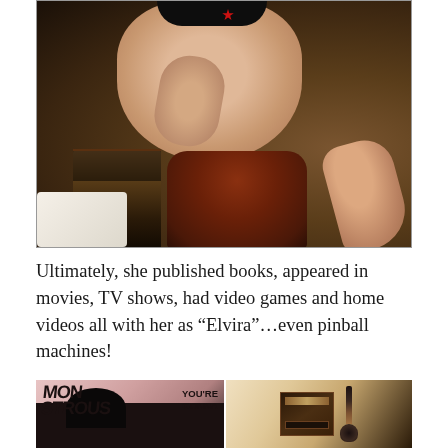[Figure (photo): A woman reclining on fur/textiles, wearing black lingerie with stockings, partially visible legs and midsection in a posed photograph.]
Ultimately, she published books, appeared in movies, TV shows, had video games and home videos all with her as “Elvira”…even pinball machines!
[Figure (photo): Two images side by side: left shows a record or book cover with 'MONSTROUS' text and 'YOU'RE GONNA' text; right shows Elvira branded makeup/cosmetics product with brush.]